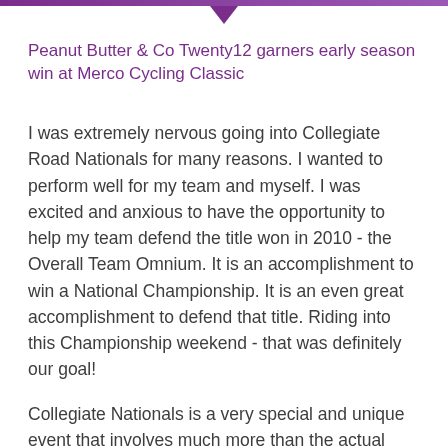Peanut Butter & Co Twenty12 garners early season win at Merco Cycling Classic
I was extremely nervous going into Collegiate Road Nationals for many reasons. I wanted to perform well for my team and myself. I was excited and anxious to have the opportunity to help my team defend the title won in 2010 - the Overall Team Omnium. It is an accomplishment to win a National Championship. It is an even great accomplishment to defend that title. Riding into this Championship weekend - that was definitely our goal!
Collegiate Nationals is a very special and unique event that involves much more than the actual racing. It is a